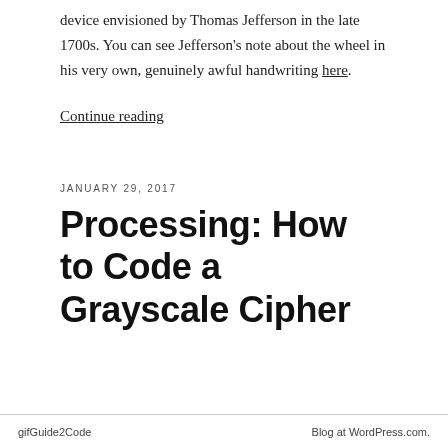device envisioned by Thomas Jefferson in the late 1700s. You can see Jefferson's note about the wheel in his very own, genuinely awful handwriting here.
Continue reading
JANUARY 29, 2017
Processing: How to Code a Grayscale Cipher
gifGuide2Code    Blog at WordPress.com.